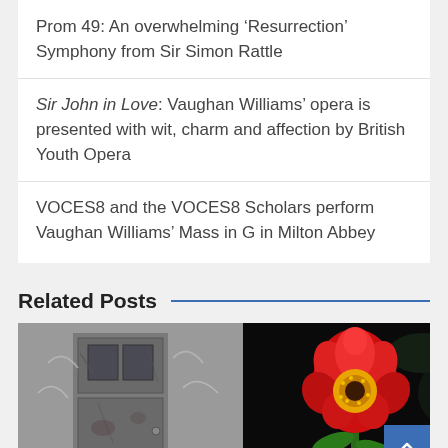Prom 49: An overwhelming ‘Resurrection’ Symphony from Sir Simon Rattle
Sir John in Love: Vaughan Williams’ opera is presented with wit, charm and affection by British Youth Opera
VOCES8 and the VOCES8 Scholars perform Vaughan Williams’ Mass in G in Milton Abbey
Related Posts
[Figure (photo): Two-panel image: left panel shows a black-and-white photo of an old weathered door or building facade with graffiti-like markings; right panel shows a color photo of a bright red zinnia flower against a dark background.]